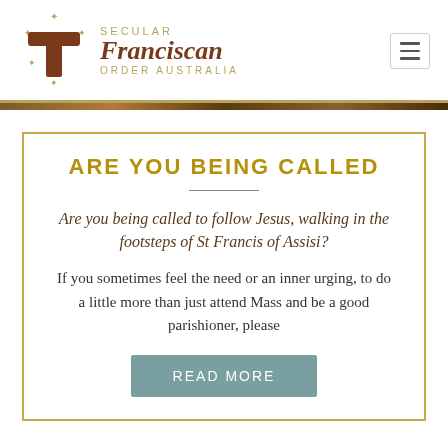[Figure (logo): Secular Franciscan Order Australia logo with Tau cross and stars]
ARE YOU BEING CALLED
Are you being called to follow Jesus, walking in the footsteps of St Francis of Assisi?
If you sometimes feel the need or an inner urging, to do a little more than just attend Mass and be a good parishioner, please
READ MORE